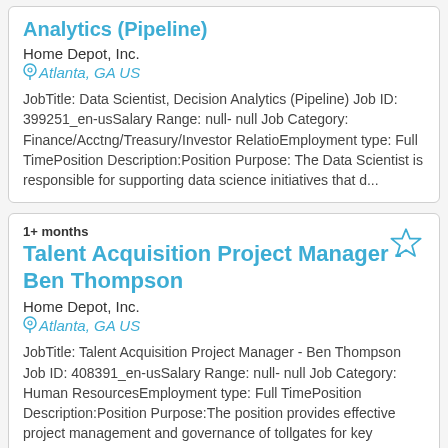Analytics (Pipeline)
Home Depot, Inc.
Atlanta, GA US
JobTitle: Data Scientist, Decision Analytics (Pipeline) Job ID: 399251_en-usSalary Range: null- null Job Category: Finance/Acctng/Treasury/Investor RelatioEmployment type: Full TimePosition Description:Position Purpose: The Data Scientist is responsible for supporting data science initiatives that d...
1+ months
Talent Acquisition Project Manager - Ben Thompson
Home Depot, Inc.
Atlanta, GA US
JobTitle: Talent Acquisition Project Manager - Ben Thompson Job ID: 408391_en-usSalary Range: null- null Job Category: Human ResourcesEmployment type: Full TimePosition Description:Position Purpose:The position provides effective project management and governance of tollgates for key projects for Th...